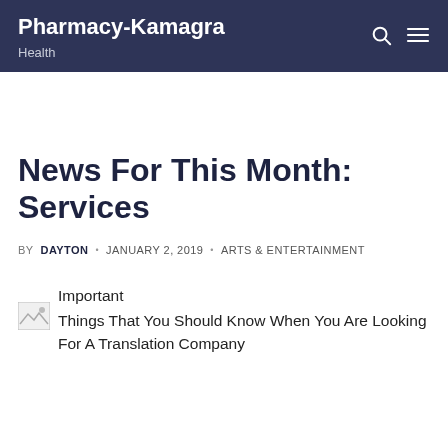Pharmacy-Kamagra | Health
News For This Month: Services
BY DAYTON • JANUARY 2, 2019 • ARTS & ENTERTAINMENT
[Figure (photo): Broken/placeholder image thumbnail]
Important Things That You Should Know When You Are Looking For A Translation Company